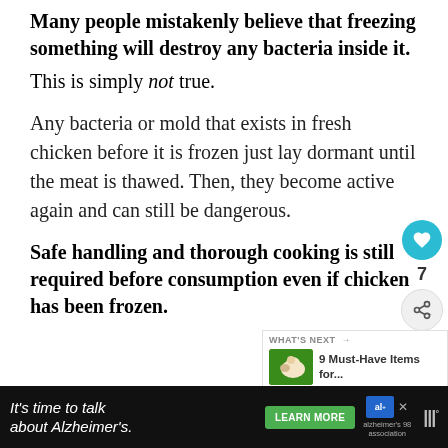Many people mistakenly believe that freezing something will destroy any bacteria inside it. This is simply not true.
Any bacteria or mold that exists in fresh chicken before it is frozen just lay dormant until the meat is thawed. Then, they become active again and can still be dangerous.
Safe handling and thorough cooking is still required before consumption even if chicken has been frozen.
[Figure (other): Social share widget with heart/like button showing count of 7, and a share button]
[Figure (other): What's Next widget showing a chicken image thumbnail and text '9 Must-Have Items for...']
[Figure (other): Advertisement banner for Alzheimer's Association: 'It's time to talk about Alzheimer's.' with Learn More button]